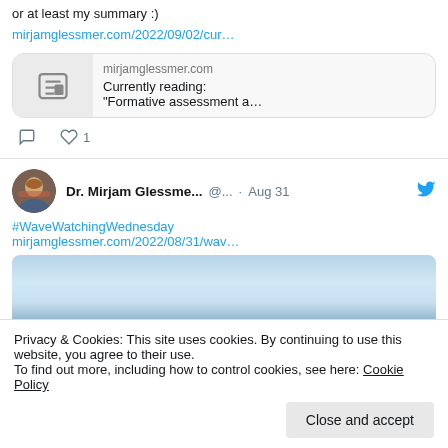or at least my summary :)
mirjamglessmer.com/2022/09/02/cur…
[Figure (screenshot): Link preview card showing mirjamglessmer.com with a newspaper icon and text 'Currently reading: "Formative assessment a...']
comment icon, heart icon with count 1
Dr. Mirjam Glessme... @... · Aug 31
#WaveWatchingWednesday mirjamglessmer.com/2022/08/31/wav…
[Figure (photo): Partial sky/ocean image preview at bottom of tweet]
Privacy & Cookies: This site uses cookies. By continuing to use this website, you agree to their use.
To find out more, including how to control cookies, see here: Cookie Policy
Close and accept